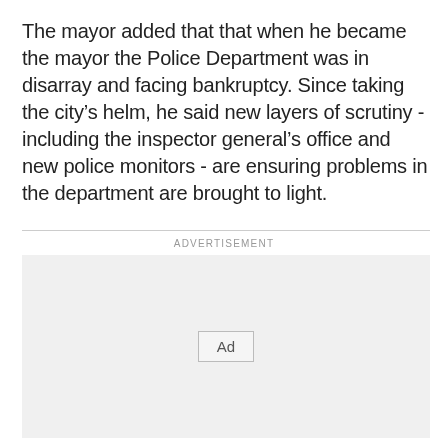The mayor added that that when he became the mayor the Police Department was in disarray and facing bankruptcy. Since taking the city’s helm, he said new layers of scrutiny - including the inspector general’s office and new police monitors - are ensuring problems in the department are brought to light.
ADVERTISEMENT
[Figure (other): Advertisement placeholder box with an 'Ad' button in the center]